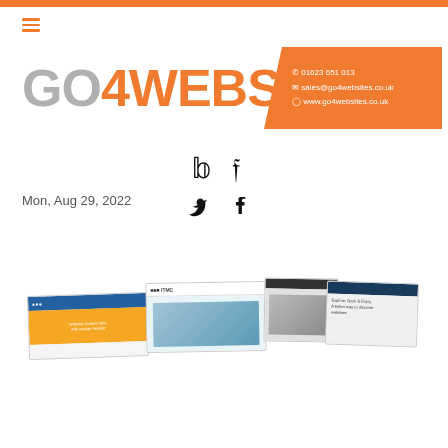[Figure (logo): Go4Websites logo banner with orange block containing contact details: 01623 651 013, sales@go4websites.co.uk, www.go4websites.co.uk]
[Figure (illustration): Twitter and Facebook social media icons]
Mon, Aug 29, 2022
[Figure (screenshot): Four overlapping tilted website screenshot thumbnails showing various web designs]